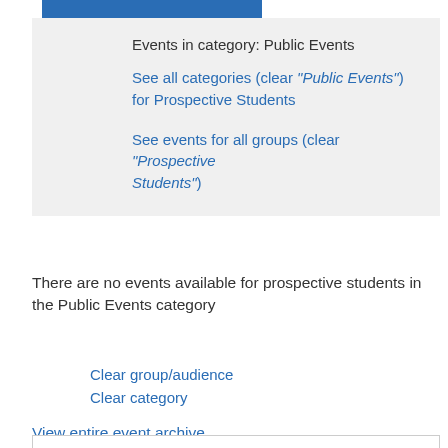Events in category: Public Events
See all categories (clear "Public Events") for Prospective Students
See events for all groups (clear "Prospective Students")
There are no events available for prospective students in the Public Events category
Clear group/audience
Clear category
View entire event archive
◄  March 2018  ►